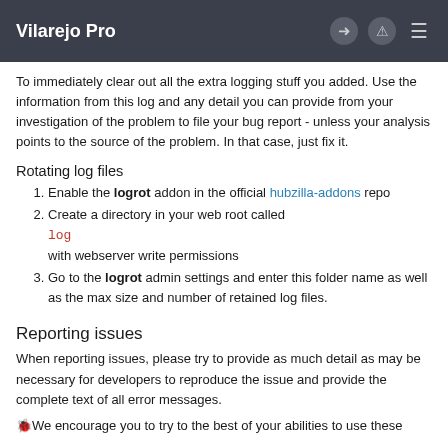Vilarejo Pro
To immediately clear out all the extra logging stuff you added. Use the information from this log and any detail you can provide from your investigation of the problem to file your bug report - unless your analysis points to the source of the problem. In that case, just fix it.
Rotating log files
Enable the logrot addon in the official hubzilla-addons repo
Create a directory in your web root called
log
with webserver write permissions
Go to the logrot admin settings and enter this folder name as well as the max size and number of retained log files.
Reporting issues
When reporting issues, please try to provide as much detail as may be necessary for developers to reproduce the issue and provide the complete text of all error messages.
🐞We encourage you to try to the best of your abilities to use these